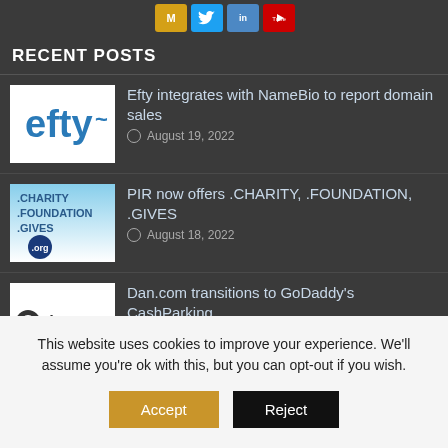[Figure (other): Social media icon buttons: gold M icon, blue Twitter bird, light blue icon, red YouTube icon]
RECENT POSTS
[Figure (logo): Efty logo - blue text on white background]
Efty integrates with NameBio to report domain sales
© August 19, 2022
[Figure (logo): .CHARITY .FOUNDATION .GIVES .org logo on blue/white gradient background]
PIR now offers .CHARITY, .FOUNDATION, .GIVES
© August 18, 2022
[Figure (logo): dan.com logo on white background]
Dan.com transitions to GoDaddy’s CashParking
© August 15, 2022
[Figure (other): Tucows blue banner thumbnail]
Tucows reports Q2 2022 results
This website uses cookies to improve your experience. We’ll assume you’re ok with this, but you can opt-out if you wish.
Accept
Reject